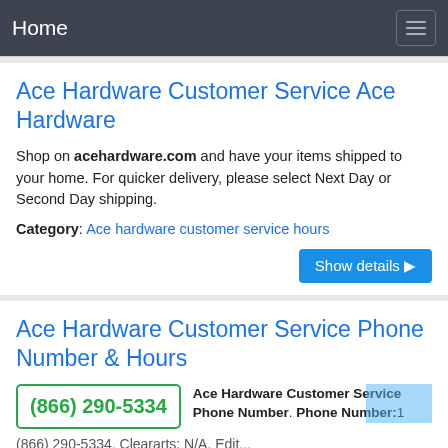Home
Ace Hardware Customer Service Ace Hardware
Shop on acehardware.com and have your items shipped to your home. For quicker delivery, please select Next Day or Second Day shipping.
Category: Ace hardware customer service hours
Show details
Ace Hardware Customer Service Phone Number & Hours
(866) 290-5334
Ace Hardware Customer Service Phone Number. Phone Number:1
(866) 290-5334. Cleararts: N/A. Edit...